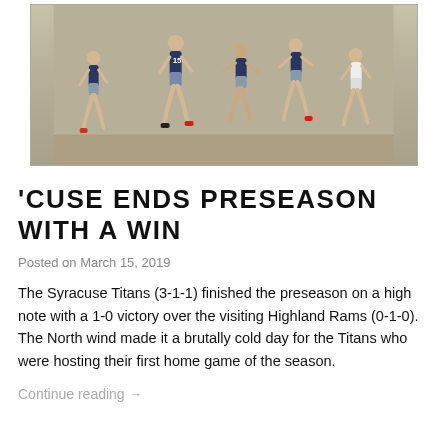[Figure (photo): Soccer players in navy blue uniforms running on a field during a match. Player number 15 is visible in the center. The field is dry and the sky is overcast.]
'CUSE ENDS PRESEASON WITH A WIN
Posted on March 15, 2019
The Syracuse Titans (3-1-1) finished the preseason on a high note with a 1-0 victory over the visiting Highland Rams (0-1-0). The North wind made it a brutally cold day for the Titans who were hosting their first home game of the season.
Continue reading →